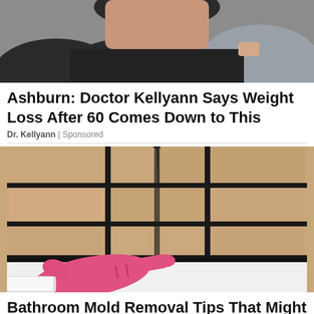[Figure (photo): Partial photo of a woman in a black top, cropped at top of page]
Ashburn: Doctor Kellyann Says Weight Loss After 60 Comes Down to This
Dr. Kellyann | Sponsored
[Figure (photo): Photo of bathroom tiles with black mold along grout lines, with a pink-gloved hand pointing to mold near a white bathtub edge]
Bathroom Mold Removal Tips That Might Surprise Most Americans